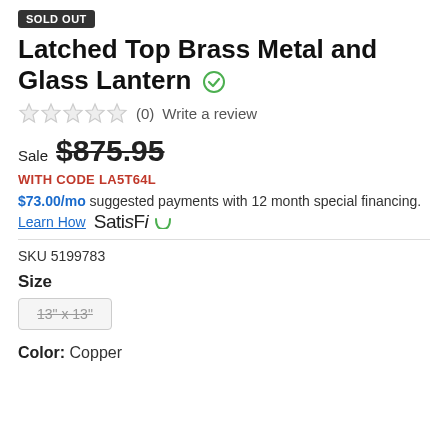SOLD OUT
Latched Top Brass Metal and Glass Lantern
(0)  Write a review
Sale $875.95
WITH CODE LA5T64L
$73.00/mo suggested payments with 12 month special financing.
Learn How  SatisFi
SKU 5199783
Size
13" x 13"
Color: Copper